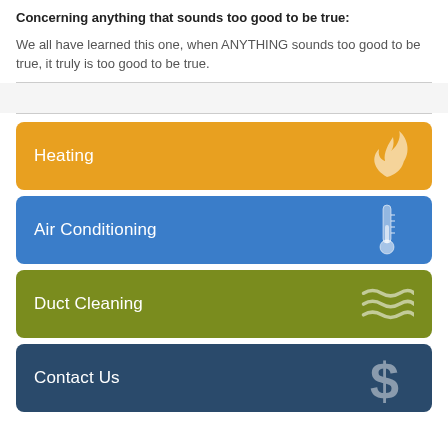Concerning anything that sounds too good to be true:
We all have learned this one, when ANYTHING sounds too good to be true, it truly is too good to be true.
Heating
Air Conditioning
Duct Cleaning
Contact Us